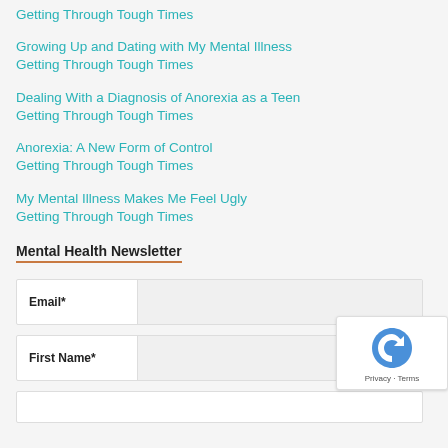Getting Through Tough Times
Growing Up and Dating with My Mental Illness
Getting Through Tough Times
Dealing With a Diagnosis of Anorexia as a Teen
Getting Through Tough Times
Anorexia: A New Form of Control
Getting Through Tough Times
My Mental Illness Makes Me Feel Ugly
Getting Through Tough Times
Mental Health Newsletter
Email*
First Name*